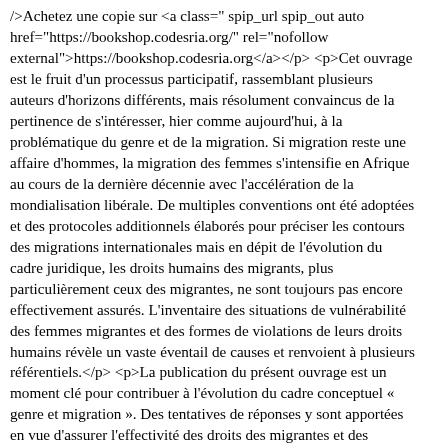/>Achetez une copie sur <a class="spip_url spip_out auto href="https://bookshop.codesria.org/" rel="nofollow external">https://bookshop.codesria.org</a></p> <p>Cet ouvrage est le fruit d'un processus participatif, rassemblant plusieurs auteurs d'horizons différents, mais résolument convaincus de la pertinence de s'intéresser, hier comme aujourd'hui, à la problématique du genre et de la migration. Si migration reste une affaire d'hommes, la migration des femmes s'intensifie en Afrique au cours de la dernière décennie avec l'accélération de la mondialisation libérale. De multiples conventions ont été adoptées et des protocoles additionnels élaborés pour préciser les contours des migrations internationales mais en dépit de l'évolution du cadre juridique, les droits humains des migrants, plus particulièrement ceux des migrantes, ne sont toujours pas encore effectivement assurés. L'inventaire des situations de vulnérabilité des femmes migrantes et des formes de violations de leurs droits humains révèle un vaste éventail de causes et renvoient à plusieurs référentiels.</p> <p>La publication du présent ouvrage est un moment clé pour contribuer à l'évolution du cadre conceptuel « genre et migration ». Des tentatives de réponses y sont apportées en vue d'assurer l'effectivité des droits des migrantes et des migrants en Afrique notamment à partir de données scientifiques nécessaires pour informer des politiques publiques pertinentes et efficientes.</p> <p><strong>Marèma Touré Thiam</strong> est docteur en sociologie, diplômée en sciences de l'éducation et spécialiste de genre et en droit international du genre en Afri...